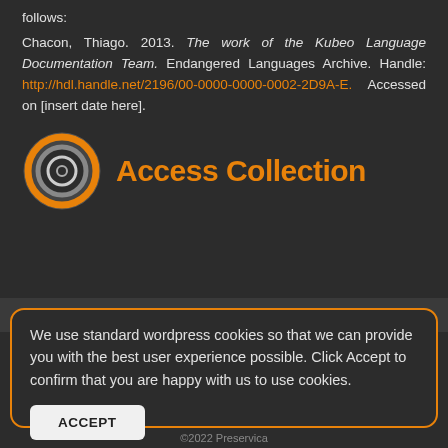follows:
Chacon, Thiago. 2013. The work of the Kubeo Language Documentation Team. Endangered Languages Archive. Handle: http://hdl.handle.net/2196/00-0000-0000-0002-2D9A-E. Accessed on [insert date here].
[Figure (logo): Endangered Languages Archive circular logo with concentric rings in orange and grey]
Access Collection
We use standard wordpress cookies so that we can provide you with the best user experience possible. Click Accept to confirm that you are happy with us to use cookies.
ACCEPT
©2022 Preservica